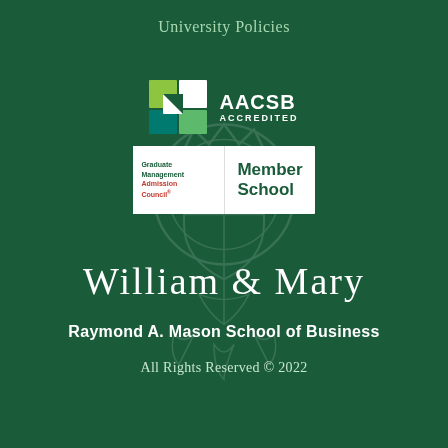University Policies
[Figure (logo): AACSB Accredited logo with geometric green and teal square icon]
[Figure (logo): Graduate Management Admission Council Member School logo]
William & Mary
Raymond A. Mason School of Business
All Rights Reserved © 2022